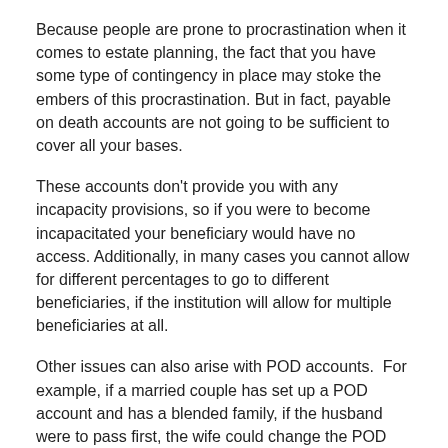Because people are prone to procrastination when it comes to estate planning, the fact that you have some type of contingency in place may stoke the embers of this procrastination. But in fact, payable on death accounts are not going to be sufficient to cover all your bases.
These accounts don't provide you with any incapacity provisions, so if you were to become incapacitated your beneficiary would have no access. Additionally, in many cases you cannot allow for different percentages to go to different beneficiaries, if the institution will allow for multiple beneficiaries at all.
Other issues can also arise with POD accounts.  For example, if a married couple has set up a POD account and has a blended family, if the husband were to pass first, the wife could change the POD beneficiaries to remove her husband's children and could update the POD beneficiary to include only her child, thereby completely excluding the deceased husband's heirs. Alternatively, if the wife were to pass first and the husband were to get remarried, the husband could remove the wife's children as the POD beneficiary and could instead